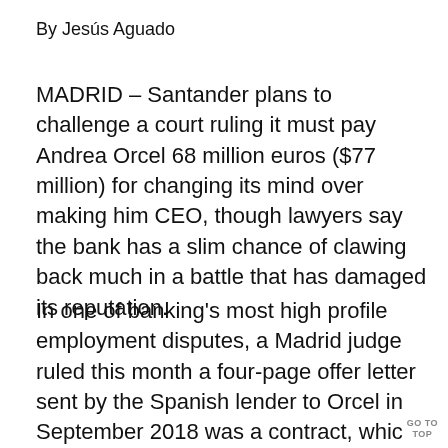By Jesús Aguado
MADRID – Santander plans to challenge a court ruling it must pay Andrea Orcel 68 million euros ($77 million) for changing its mind over making him CEO, though lawyers say the bank has a slim chance of clawing back much in a battle that has damaged its reputation.
In one of banking's most high profile employment disputes, a Madrid judge ruled this month a four-page offer letter sent by the Spanish lender to Orcel in September 2018 was a contract, whic…